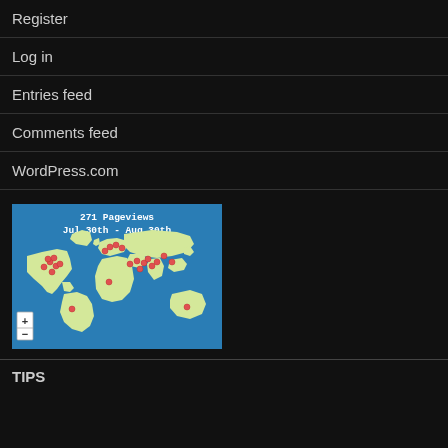Register
Log in
Entries feed
Comments feed
WordPress.com
[Figure (map): World map showing 271 pageviews from Jul 30th to Aug 30th, with red dots indicating visitor locations across North America, Europe, Asia, and other regions. Zoom controls (+/-) on the lower left.]
TIPS